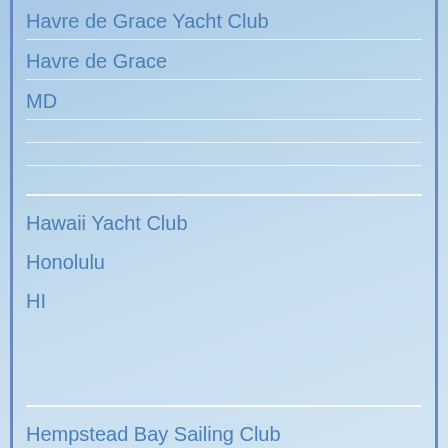Havre de Grace Yacht Club
Havre de Grace
MD
Hawaii Yacht Club
Honolulu
HI
Hempstead Bay Sailing Club
Island Park